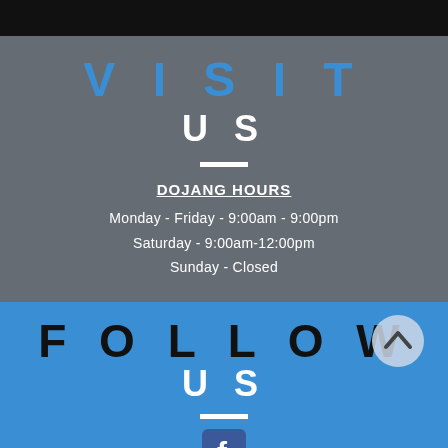[Figure (infographic): Black top bar, dark gray section with VISIT US heading, dojang hours, blue section with FOLLOW US heading and Facebook icon]
VISIT US
DOJANG HOURS
Monday - Friday - 9:00am - 9:00pm
Saturday - 9:00am-12:00pm
Sunday - Closed
FOLLOW US